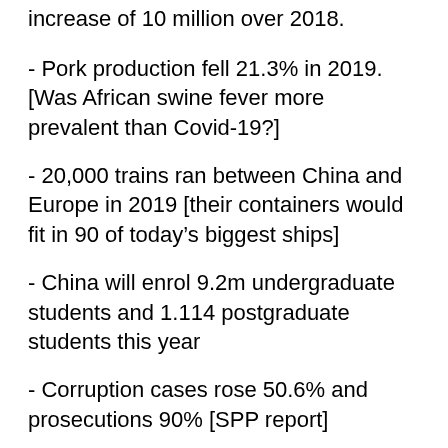increase of 10 million over 2018.
- Pork production fell 21.3% in 2019. [Was African swine fever more prevalent than Covid-19?]
- 20,000 trains ran between China and Europe in 2019 [their containers would fit in 90 of today's biggest ships]
- China will enrol 9.2m undergraduate students and 1.114 postgraduate students this year
- Corruption cases rose 50.6% and prosecutions 90% [SPP report]
- 10,000 new businesses opened each day in 2019. The target for 2020 is 20,000. [Li at his press conference. In the 2019 press conference he claimed a 30,000 daily total achieved, although his work report claimed 18,000.]